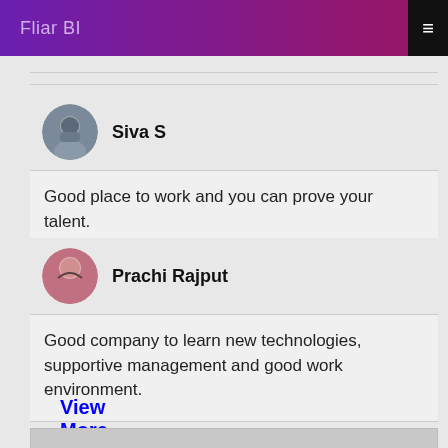Fliar BI
Siva S
Good place to work and you can prove your talent.
Prachi Rajput
Good company to learn new technologies, supportive management and good work environment.
View More Reviews